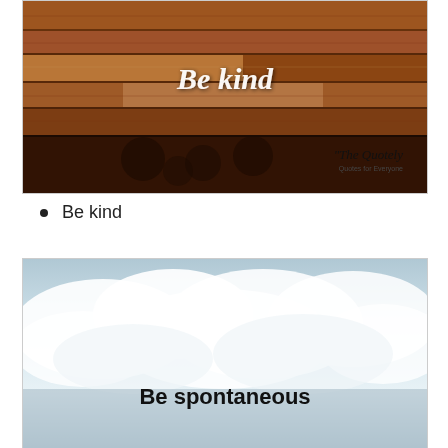[Figure (photo): Wooden plank background with 'Be kind' text in white italic script, and 'The Quotely - Quotes for Everyone' watermark in bottom right]
Be kind
[Figure (photo): Cloudy sky background with 'Be spontaneous' text in bold black]